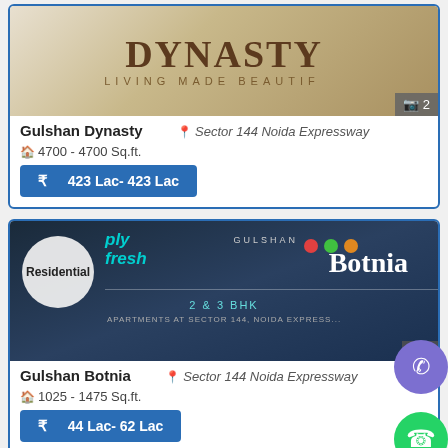[Figure (screenshot): Gulshan Dynasty property banner image showing 'DYNASTY LIVING MADE BEAUTIFUL' text with image count badge showing 2]
Gulshan Dynasty   📍 Sector 144 Noida Expressway
🏠 4700 - 4700 Sq.ft.
₹   423 Lac- 423 Lac
[Figure (screenshot): Gulshan Botnia property banner image showing 'Residential', 'ply fresh', 'GULSHAN Botnia', '2 & 3 BHK APARTMENTS AT SECTOR 144, NOIDA EXPRESSWAY' with phone and WhatsApp FABs]
Gulshan Botnia   📍 Sector 144 Noida Expressway
🏠 1025 - 1475 Sq.ft.
₹   44 Lac- 62 Lac